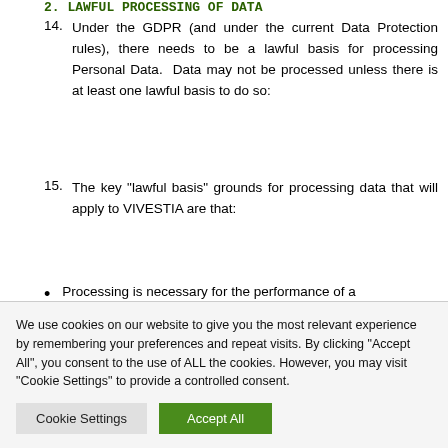2. LAWFUL PROCESSING OF DATA
14. Under the GDPR (and under the current Data Protection rules), there needs to be a lawful basis for processing Personal Data. Data may not be processed unless there is at least one lawful basis to do so:
15. The key "lawful basis" grounds for processing data that will apply to VIVESTIA are that:
Processing is necessary for the performance of a
We use cookies on our website to give you the most relevant experience by remembering your preferences and repeat visits. By clicking "Accept All", you consent to the use of ALL the cookies. However, you may visit "Cookie Settings" to provide a controlled consent.